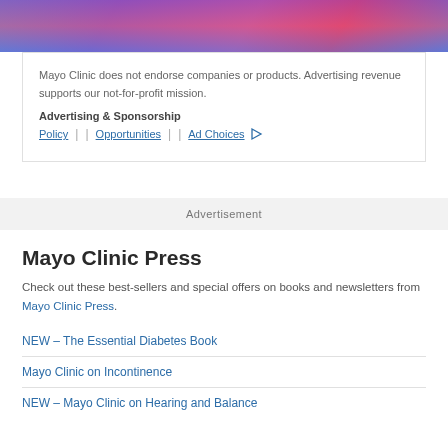[Figure (photo): Colorful abstract background image with blue, pink, and purple tones, partially cropped at the top of the page]
Mayo Clinic does not endorse companies or products. Advertising revenue supports our not-for-profit mission.
Advertising & Sponsorship
Policy | Opportunities | Ad Choices
Advertisement
Mayo Clinic Press
Check out these best-sellers and special offers on books and newsletters from Mayo Clinic Press.
NEW – The Essential Diabetes Book
Mayo Clinic on Incontinence
NEW – Mayo Clinic on Hearing and Balance